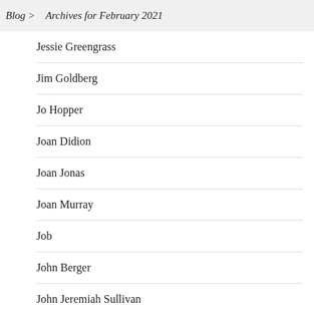Blog > Archives for February 2021
Jessie Greengrass
Jim Goldberg
Jo Hopper
Joan Didion
Joan Jonas
Joan Murray
Job
John Berger
John Jeremiah Sullivan
John Keene
Jon Day